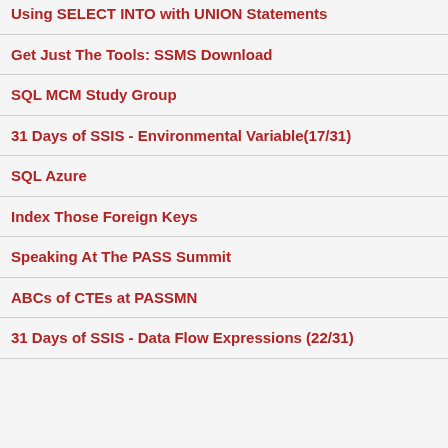Using SELECT INTO with UNION Statements
Get Just The Tools: SSMS Download
SQL MCM Study Group
31 Days of SSIS - Environmental Variable(17/31)
SQL Azure
Index Those Foreign Keys
Speaking At The PASS Summit
ABCs of CTEs at PASSMN
31 Days of SSIS - Data Flow Expressions (22/31)